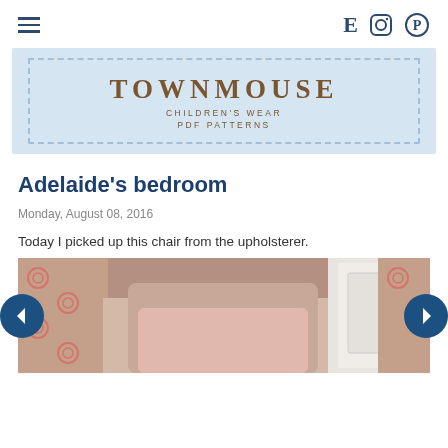Navigation bar with hamburger menu and icons (Etsy, Instagram, Pinterest)
[Figure (logo): Townmouse Children's Wear PDF Patterns logo on light blue background with dashed border]
Adelaide's bedroom
Monday, August 08, 2016
Today I picked up this chair from the upholsterer.
[Figure (photo): Photo of an upholstered chair with pink patterned curtains and white wardrobe in the background]